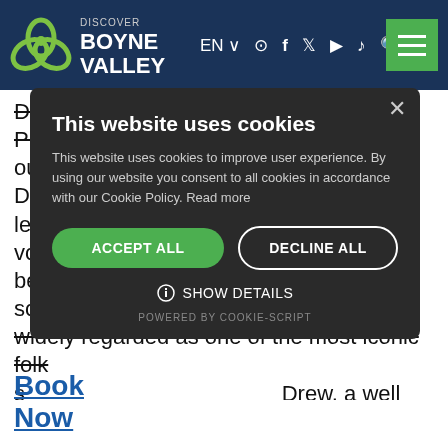Discover Boyne Valley — EN navigation header
Droichead are delighted to welcome Phelim Drew to our stage, as he remembers his father, Dubliners legend Ronnie Drew. Ronnie is the iconic voice behind a number of the Dubliners hits songs and is widely regarded as one of the most iconic folk s... Drew, a well k... c, telling a few y... made famous b... Ger Kiely on e... a mix of folk a... o towards d... the audience w...
[Figure (screenshot): Cookie consent dialog overlay with title 'This website uses cookies', body text about cookie policy, Accept All and Decline All buttons, Show Details option, and Powered by Cookie-Script footer]
Book Now